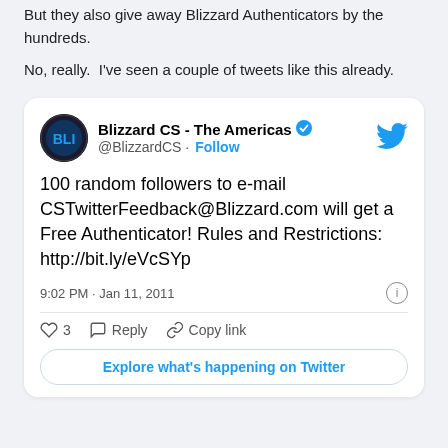But they also give away Blizzard Authenticators by the hundreds.
No, really.  I've seen a couple of tweets like this already.
[Figure (screenshot): Embedded tweet from @BlizzardCS (Blizzard CS - The Americas, verified) posted at 9:02 PM · Jan 11, 2011. Tweet text: '100 random followers to e-mail CSTwitterFeedback@Blizzard.com will get a Free Authenticator! Rules and Restrictions: http://bit.ly/eVcSYp'. Shows 3 likes, Reply, Copy link actions, and 'Explore what's happening on Twitter' button.]